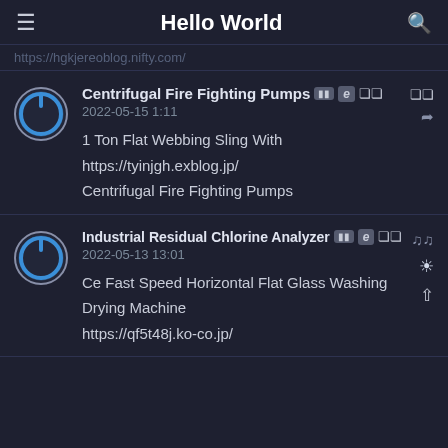Hello World
https://hgkjereoblog.nifty.com/
Centrifugal Fire Fighting Pumps
2022-05-15 1:11
1 Ton Flat Webbing Sling With
https://tyinjgh.exblog.jp/
Centrifugal Fire Fighting Pumps
Industrial Residual Chlorine Analyzer
2022-05-13 13:01
Ce Fast Speed Horizontal Flat Glass Washing
Drying Machine
https://qf5t48j.ko-co.jp/